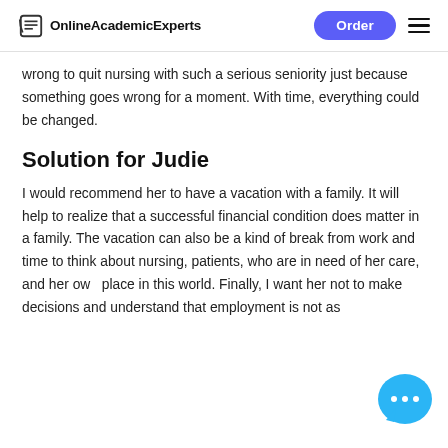OnlineAcademicExperts | Order
wrong to quit nursing with such a serious seniority just because something goes wrong for a moment. With time, everything could be changed.
Solution for Judie
I would recommend her to have a vacation with a family. It will help to realize that a successful financial condition does matter in a family. The vacation can also be a kind of break from work and time to think about nursing, patients, who are in need of her care, and her own place in this world. Finally, I want her not to make decisions and understand that employment is not as